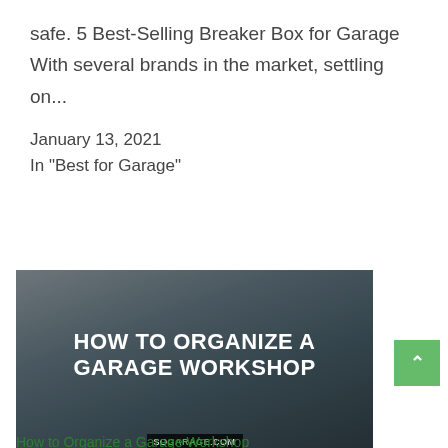safe. 5 Best-Selling Breaker Box for Garage With several brands in the market, settling on...
January 13, 2021
In "Best for Garage"
[Figure (photo): Photo of person in hoodie working in a garage workshop, with bold white text overlay reading 'HOW TO ORGANIZE A GARAGE WORKSHOP' and watermark 'SOGARAGE.COM']
How to Organize a Garage Workshop